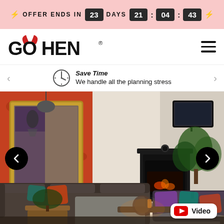⚡ OFFER ENDS IN 23 DAYS 21 : 04 : 43 ⚡
[Figure (logo): GoHen logo with red devil horns above the O, bold black text reading GO HEN with registered trademark symbol]
Save Time — We handle all the planning stress
[Figure (photo): Interior living room photo showing two dark grey sofas, a black fireplace with wall-mounted TV above, vibrant red/orange floral wallpaper, large gold-framed mirror, indoor plant, and colorful decorative cushions. Navigation arrows (left/right) overlaid on the photo. A Video button in the bottom-right corner.]